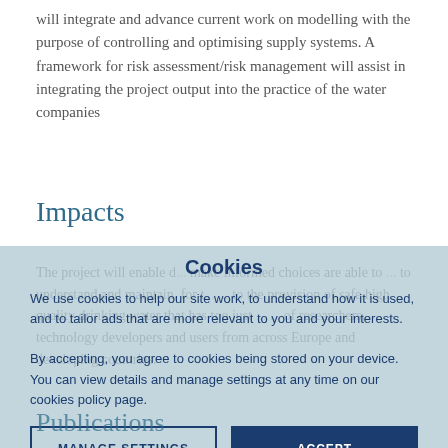will integrate and advance current work on modelling with the purpose of controlling and optimising supply systems. A framework for risk assessment/risk management will assist in integrating the project output into the practice of the water companies
Impacts
The project will enable d... make informed choices are able to ... to understand and maintain, for t... ... to the provision of safe high quality drinking water that has too just ... ... of researchers, technology developers and users from across Europe and developing countries.
[Figure (other): Cookie consent dialog overlay with title 'Cookies', body text about cookie usage, and two buttons: 'MANAGE SETTINGS' and 'ACCEPT']
Publications